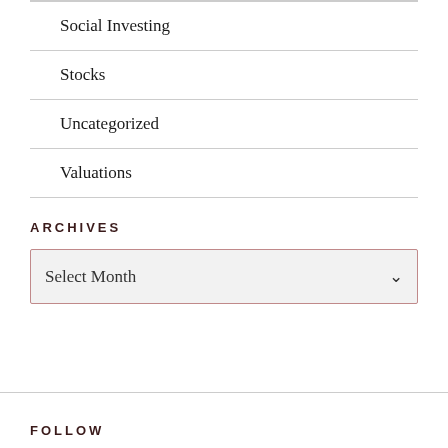Social Investing
Stocks
Uncategorized
Valuations
ARCHIVES
Select Month
FOLLOW